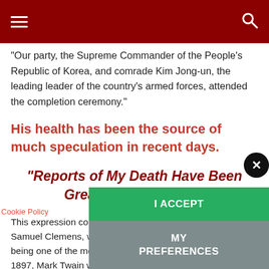Navigation header with hamburger menu and search icon
“Our party, the Supreme Commander of the People’s Republic of Korea, and comrade Kim Jong-un, the leading leader of the country’s armed forces, attended the completion ceremony.”
His health has been the source of much speculation in recent days.
“Reports of My Death Have Been Greatly Exaggerated”
This expression comes from the famous A... Samuel Clemens, whose pen name was Ma... being one of the most well known authors t... 1897, Mark Twain was in debt. He had decided to travel to